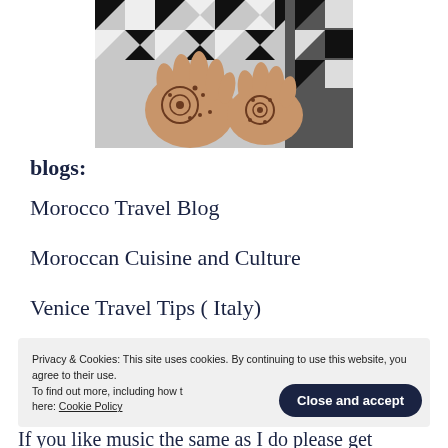[Figure (photo): Hands with henna/mehndi designs, black and white patterned fabric background]
blogs:
Morocco Travel Blog
Moroccan Cuisine and Culture
Venice Travel Tips ( Italy)
Privacy & Cookies: This site uses cookies. By continuing to use this website, you agree to their use. To find out more, including how to control cookies, see here: Cookie Policy
If you like music the same as I do please get